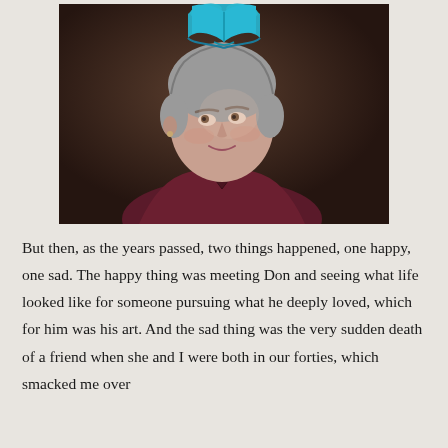[Figure (logo): Blue open book logo icon at top center]
[Figure (photo): Portrait photograph of a middle-aged woman with short gray hair, wearing a dark burgundy/maroon top, looking slightly upward and to the left, against a dark brown background]
But then, as the years passed, two things happened, one happy, one sad. The happy thing was meeting Don and seeing what life looked like for someone pursuing what he deeply loved, which for him was his art. And the sad thing was the very sudden death of a friend when she and I were both in our forties, which smacked me over